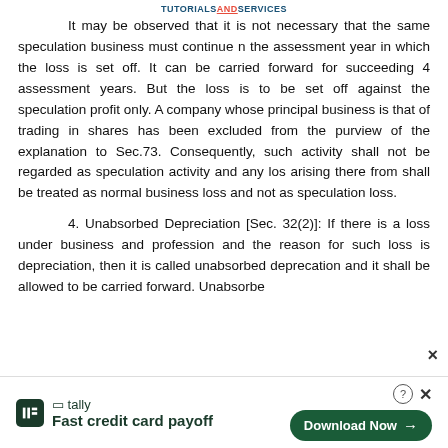TUTORIALS AND SERVICES
It may be observed that it is not necessary that the same speculation business must continue n the assessment year in which the loss is set off. It can be carried forward for succeeding 4 assessment years. But the loss is to be set off against the speculation profit only. A company whose principal business is that of trading in shares has been excluded from the purview of the explanation to Sec.73. Consequently, such activity shall not be regarded as speculation activity and any los arising there from shall be treated as normal business loss and not as speculation loss.
4. Unabsorbed Depreciation [Sec. 32(2)]: If there is a loss under business and profession and the reason for such loss is depreciation, then it is called unabsorbed deprecation and it shall be allowed to be carried forward. Unabsorbe